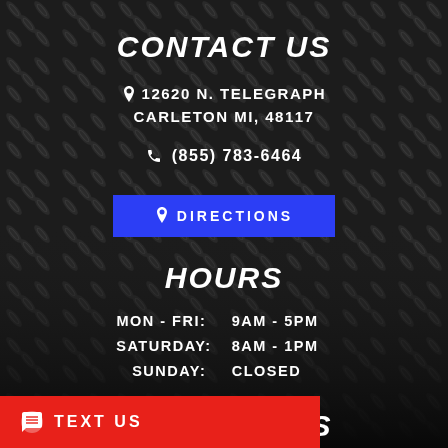CONTACT US
12620 N. TELEGRAPH
CARLETON MI, 48117
(855) 783-6464
DIRECTIONS
HOURS
MON - FRI:   9AM - 5PM
SATURDAY:  8AM - 1PM
SUNDAY:     CLOSED
QUICK LINKS
INVENTORY
TEXT US